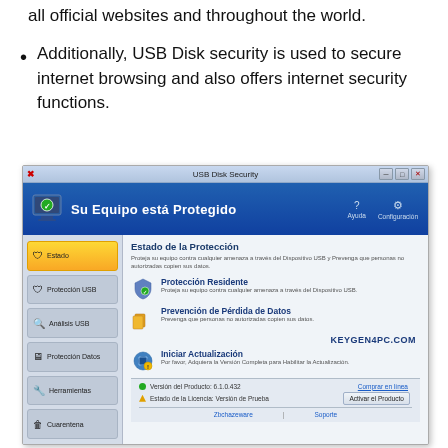all official websites and throughout the world.
Additionally, USB Disk security is used to secure internet browsing and also offers internet security functions.
[Figure (screenshot): Screenshot of USB Disk Security software showing the main status window in Spanish. The interface displays 'Su Equipo está Protegido' (Your Computer is Protected) in a blue header. The left sidebar shows navigation items: Estado (active, highlighted in yellow), Protección USB, Análisis USB, Protección Datos, Herramientas, and Cuarentena. The right panel shows Estado de la Protección with three features: Protección Residente, Prevención de Pérdida de Datos, and Iniciar Actualización. A watermark reading KEYGEN4PC.COM is visible. The bottom shows version 6.1.0.432 and trial license status with options to buy online or activate the product.]